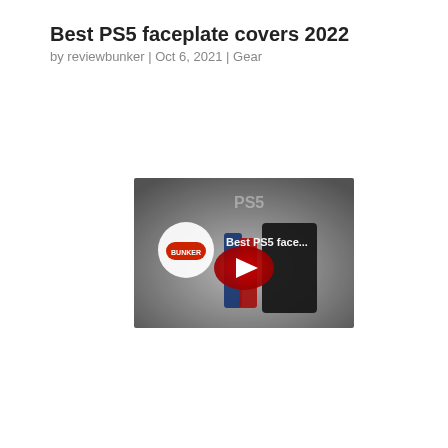Best PS5 faceplate covers 2022
by reviewbunker  |  Oct 6, 2021  |  Gear
[Figure (screenshot): YouTube video thumbnail showing 'Best PS5 face...' with a red YouTube play button in the center, a circular Bunker logo on the left, and PS5 consoles with colored faceplates (blue, red, black) in the background.]